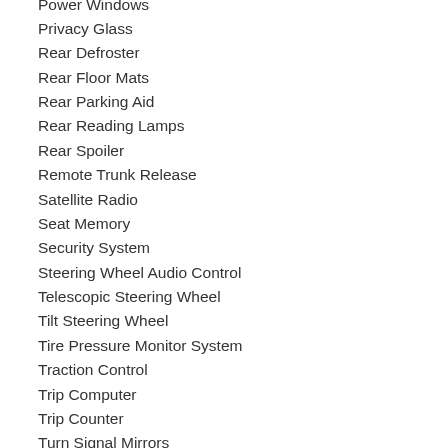Power Windows
Privacy Glass
Rear Defroster
Rear Floor Mats
Rear Parking Aid
Rear Reading Lamps
Rear Spoiler
Remote Trunk Release
Satellite Radio
Seat Memory
Security System
Steering Wheel Audio Control
Telescopic Steering Wheel
Tilt Steering Wheel
Tire Pressure Monitor System
Traction Control
Trip Computer
Trip Counter
Turn Signal Mirrors
US EPA Label
Universal Garage Door Opener
Warranty Books